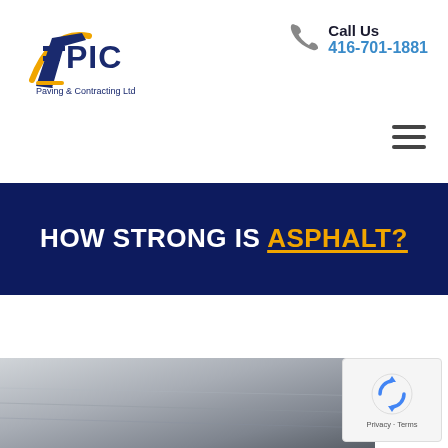[Figure (logo): EPIC Paving & Contracting Ltd logo with yellow swoosh and dark blue text]
Call Us
416-701-1881
HOW STRONG IS ASPHALT?
[Figure (photo): Partial photo of asphalt/road surface, gray and metallic tones]
[Figure (other): reCAPTCHA badge with Privacy and Terms links]